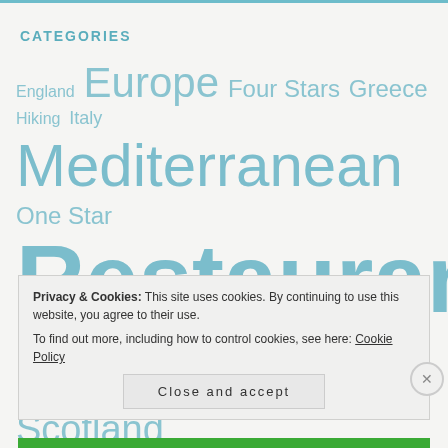CATEGORIES
England  Europe  Four Stars  Greece  Hiking  Italy  Mediterranean  One Star  Restaurant  Reviews  Scotland
Privacy & Cookies: This site uses cookies. By continuing to use this website, you agree to their use. To find out more, including how to control cookies, see here: Cookie Policy
Close and accept